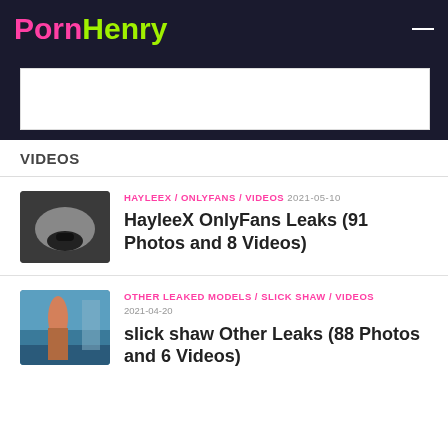PornHenry
[Figure (other): Advertisement banner placeholder (white rectangle on dark background)]
VIDEOS
[Figure (photo): Thumbnail image for HayleeX OnlyFans entry]
HAYLEEX / ONLYFANS / VIDEOS 2021-05-10 HayleeX OnlyFans Leaks (91 Photos and 8 Videos)
[Figure (photo): Thumbnail image for slick shaw Other Leaks entry]
OTHER LEAKED MODELS / SLICK SHAW / VIDEOS 2021-04-20 slick shaw Other Leaks (88 Photos and 6 Videos)